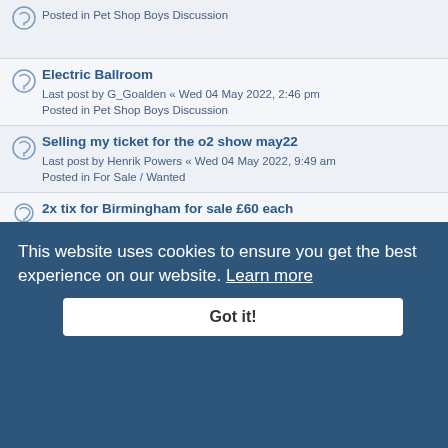Posted in Pet Shop Boys Discussion
Electric Ballroom
Last post by G_Goalden « Wed 04 May 2022, 2:46 pm
Posted in Pet Shop Boys Discussion
Selling my ticket for the o2 show may22
Last post by Henrik Powers « Wed 04 May 2022, 9:49 am
Posted in For Sale / Wanted
2x tix for Birmingham for sale £60 each
Last post by dukeduvet « Fri 22 Apr 2022, 9:19 am
Posted in For Sale / Wanted
The rebirth of King's Cross
Last post by Danimal « Thu 14 Apr 2022, 9:56 am
Posted in Pet Shop Boys Discussion
*WANTED* ELECTRIC BALLROOM TICKET
Last post by PETHEAD72 « Sat 19 Mar 2022, 4:37 pm
Posted in For Sale / Wanted
For Sale: Two O2 Reservations
Last post by binocular « Thu 17 Mar 2022, 7:18 pm
Posted in For Sale / Wanted
FOR SALE: Newcastle ticket
(partial - obscured by cookie banner)
WANTED: Pet Shop Boys CHRISTMAS CARDS 2015-2017
(partial - obscured by cookie banner)
TSB promotional video
Last post by dhaseboy « Mon 03 Jan 2022, 1:51 pm
This website uses cookies to ensure you get the best experience on our website. Learn more
Got it!